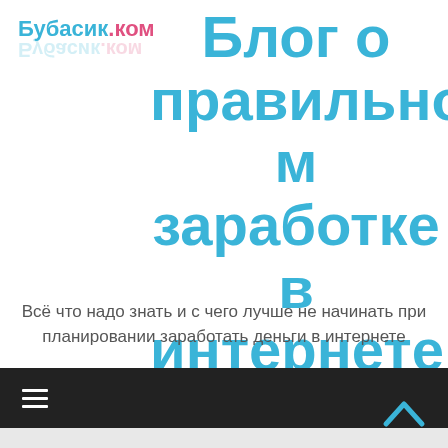Бубасик.ком
Блог о правильном заработке в интернете
Всё что надо знать и с чего лучше не начинать при планировании заработать деньги в интернете
[Figure (other): Navigation hamburger menu icon on dark bar]
[Figure (other): Scroll to top arrow button (chevron up, cyan color)]